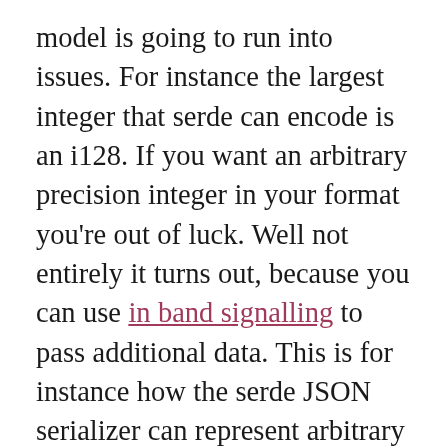model is going to run into issues. For instance the largest integer that serde can encode is an i128. If you want an arbitrary precision integer in your format you're out of luck. Well not entirely it turns out, because you can use in band signalling to pass additional data. This is for instance how the serde JSON serializer can represent arbitrary precision integers. It does it by reserving a special key in a single-value object to indicate to the internal JSON serialize/serializer combination that an arbitrary precision integer is supposed to be serialized. It looks like this: